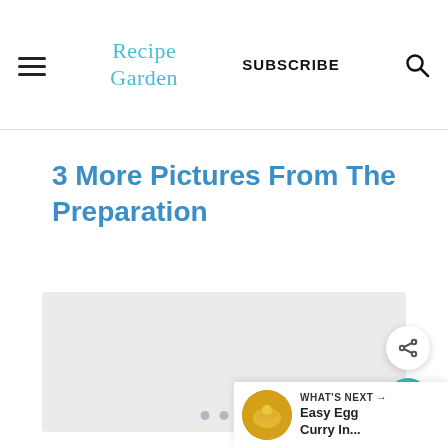Recipe Garden — SUBSCRIBE
3 More Pictures From The Preparation
[Figure (photo): Photo placeholder area (light gray) for preparation images, with three pagination dots below]
WHAT'S NEXT → Easy Egg Curry In...